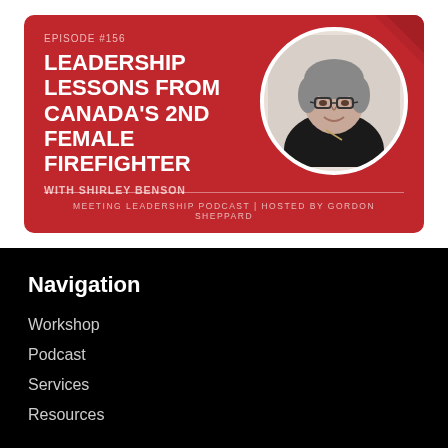[Figure (infographic): Podcast episode card with red background. Episode #156 titled 'Leadership Lessons from Canada's 2nd Female Firefighter' with Shirley Benson. Meeting Leadership Podcast hosted by Gordon Sheppard. Circular photo of a woman with short gray hair and glasses wearing a black jacket.]
Navigation
Workshop
Podcast
Services
Resources